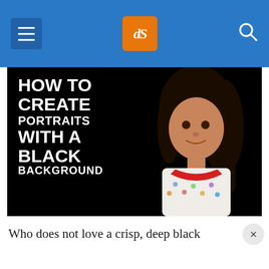dPS navigation bar with hamburger menu, dPS logo, and search icon
[Figure (photo): Article hero image on black background showing a young girl in a printed sleeveless dress with red collar, smiling, on the right side, and large white bold text on the left reading: HOW TO CREATE PORTRAITS WITH A BLACK BACKGROUND]
Who does not love a crisp, deep black